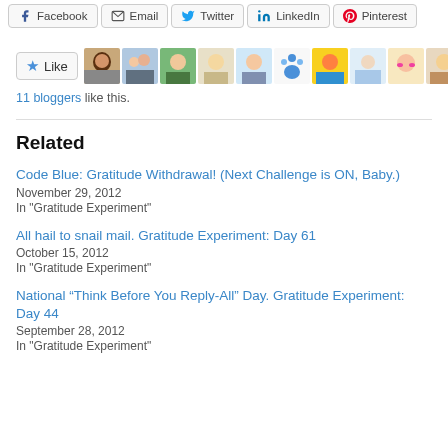[Figure (infographic): Social share buttons row: Facebook, Email, Twitter, LinkedIn, Pinterest]
[Figure (infographic): Like button with star icon followed by a strip of 11 blogger avatar thumbnails]
11 bloggers like this.
Related
Code Blue: Gratitude Withdrawal! (Next Challenge is ON, Baby.)
November 29, 2012
In "Gratitude Experiment"
All hail to snail mail. Gratitude Experiment: Day 61
October 15, 2012
In "Gratitude Experiment"
National “Think Before You Reply-All” Day. Gratitude Experiment: Day 44
September 28, 2012
In "Gratitude Experiment"